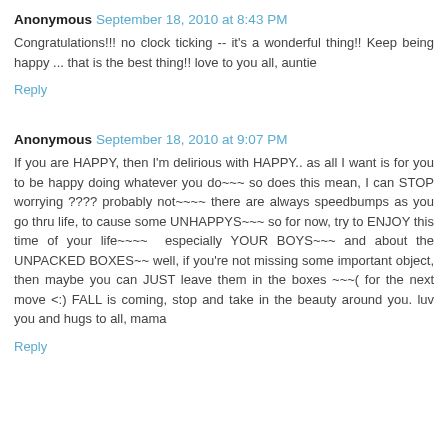Anonymous September 18, 2010 at 8:43 PM
Congratulations!!! no clock ticking -- it's a wonderful thing!! Keep being happy ... that is the best thing!! love to you all, auntie
Reply
Anonymous September 18, 2010 at 9:07 PM
If you are HAPPY, then I'm delirious with HAPPY.. as all I want is for you to be happy doing whatever you do~~~ so does this mean, I can STOP worrying ???? probably not~~~~ there are always speedbumps as you go thru life, to cause some UNHAPPYS~~~ so for now, try to ENJOY this time of your life~~~~  especially YOUR BOYS~~~ and about the UNPACKED BOXES~~ well, if you're not missing some important object, then maybe you can JUST leave them in the boxes ~~~( for the next move <:) FALL is coming, stop and take in the beauty around you. luv you and hugs to all, mama
Reply